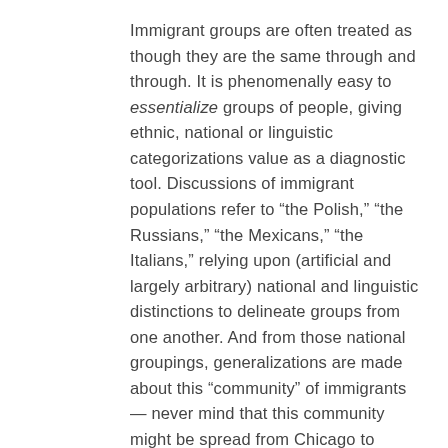Immigrant groups are often treated as though they are the same through and through. It is phenomenally easy to essentialize groups of people, giving ethnic, national or linguistic categorizations value as a diagnostic tool. Discussions of immigrant populations refer to “the Polish,” “the Russians,” “the Mexicans,” “the Italians,” relying upon (artificial and largely arbitrary) national and linguistic distinctions to delineate groups from one another. And from those national groupings, generalizations are made about this “community” of immigrants — never mind that this community might be spread from Chicago to Florida, from Seattle to Nashville, Bismarck to Austin